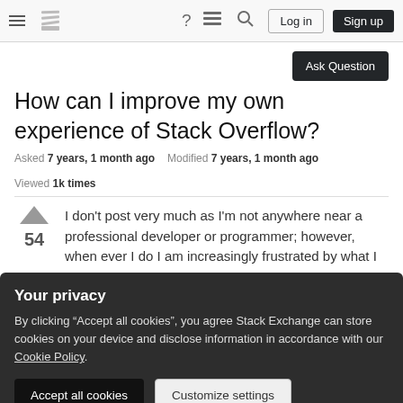Stack Overflow navigation bar with logo, help, chat, search, Log in, Sign up
How can I improve my own experience of Stack Overflow?
Asked 7 years, 1 month ago   Modified 7 years, 1 month ago   Viewed 1k times
I don't post very much as I'm not anywhere near a professional developer or programmer; however, when ever I do I am increasingly frustrated by what I
54
Your privacy
By clicking "Accept all cookies", you agree Stack Exchange can store cookies on your device and disclose information in accordance with our Cookie Policy.
Accept all cookies   Customize settings
My example is a recent question of mine.  How can